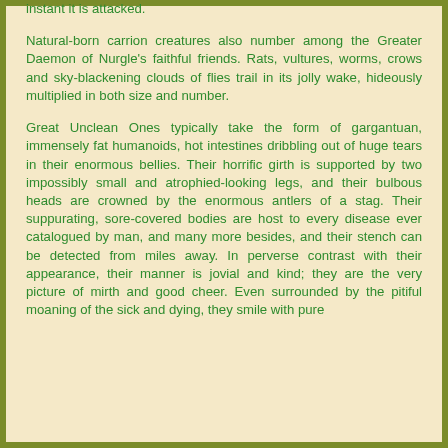instant it is attacked.
Natural-born carrion creatures also number among the Greater Daemon of Nurgle's faithful friends. Rats, vultures, worms, crows and sky-blackening clouds of flies trail in its jolly wake, hideously multiplied in both size and number.
Great Unclean Ones typically take the form of gargantuan, immensely fat humanoids, hot intestines dribbling out of huge tears in their enormous bellies. Their horrific girth is supported by two impossibly small and atrophied-looking legs, and their bulbous heads are crowned by the enormous antlers of a stag. Their suppurating, sore-covered bodies are host to every disease ever catalogued by man, and many more besides, and their stench can be detected from miles away. In perverse contrast with their appearance, their manner is jovial and kind; they are the very picture of mirth and good cheer. Even surrounded by the pitiful moaning of the sick and dying, they smile with pure